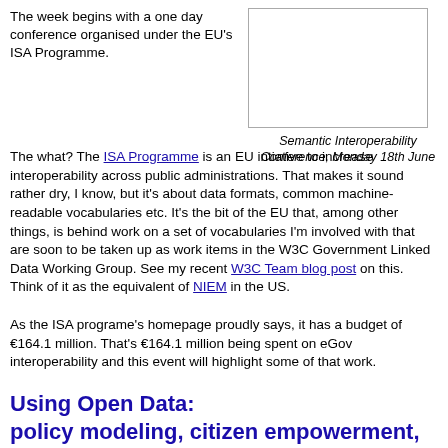The week begins with a one day conference organised under the EU's ISA Programme.
[Figure (other): A blank/white rectangular image placeholder]
Semantic Interoperability Conference, Monday 18th June
The what? The ISA Programme is an EU intiative to increase interoperability across public administrations. That makes it sound rather dry, I know, but it's about data formats, common machine-readable vocabularies etc. It's the bit of the EU that, among other things, is behind work on a set of vocabularies I'm involved with that are soon to be taken up as work items in the W3C Government Linked Data Working Group. See my recent W3C Team blog post on this. Think of it as the equivalent of NIEM in the US.
As the ISA programe's homepage proudly says, it has a budget of €164.1 million. That's €164.1 million being spent on eGov interoperability and this event will highlight some of that work.
Using Open Data: policy modeling, citizen empowerment, data journalism